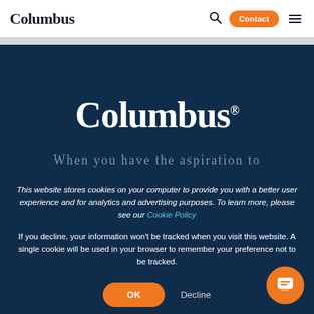Columbus
[Figure (logo): Columbus wordmark logo in large white serif font on dark navy background]
When you have the aspiration to
This website stores cookies on your computer to provide you with a better user experience and for analytics and advertising purposes. To learn more, please see our Cookie Policy
If you decline, your information won't be tracked when you visit this website. A single cookie will be used in your browser to remember your preference not to be tracked.